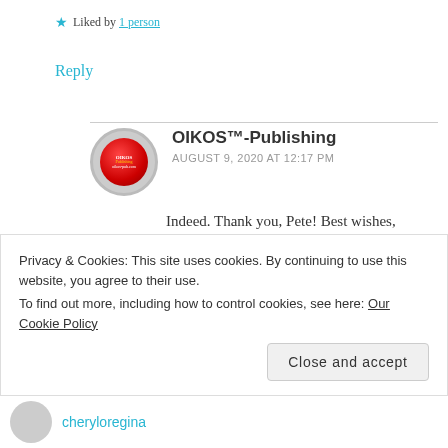★ Liked by 1 person
Reply
OIKOS™-Publishing
AUGUST 9, 2020 AT 12:17 PM
Indeed. Thank you, Pete! Best wishes, Michael
Privacy & Cookies: This site uses cookies. By continuing to use this website, you agree to their use.
To find out more, including how to control cookies, see here: Our Cookie Policy
Close and accept
cheryloregina